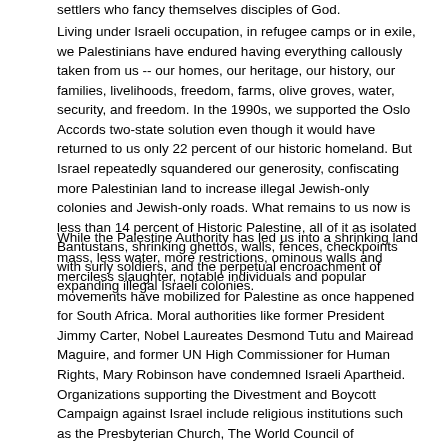settlers who fancy themselves disciples of God.
Living under Israeli occupation, in refugee camps or in exile, we Palestinians have endured having everything callously taken from us -- our homes, our heritage, our history, our families, livelihoods, freedom, farms, olive groves, water, security, and freedom. In the 1990s, we supported the Oslo Accords two-state solution even though it would have returned to us only 22 percent of our historic homeland. But Israel repeatedly squandered our generosity, confiscating more Palestinian land to increase illegal Jewish-only colonies and Jewish-only roads. What remains to us now is less than 14 percent of Historic Palestine, all of it as isolated Bantustans, shrinking ghettos, walls, fences, checkpoints with surly soldiers, and the perpetual encroachment of expanding illegal Israeli colonies.
While the Palestine Authority has led us into a shrinking land mass, less water, more restrictions, ominous walls and merciless slaughter, notable individuals and popular movements have mobilized for Palestine as once happened for South Africa. Moral authorities like former President Jimmy Carter, Nobel Laureates Desmond Tutu and Mairead Maguire, and former UN High Commissioner for Human Rights, Mary Robinson have condemned Israeli Apartheid. Organizations supporting the Divestment and Boycott Campaign against Israel include religious institutions such as the Presbyterian Church, The World Council of Churches, United Church of Christ, Evangelical Lutheran Church, the Anglican Church, the Federation of European Jews for a Just Peace, among many others. It includes civil and professional organizations such as the National Lawyers Guild, the Irish Municipal, Public and Civil Trade Union in Ireland, as well as labor unions in Canada, Britain, and other nations. An academic boycott of Israel has spread throughout the UK and other parts of Europe and taken root in US universities across the country. The International Solidarity Movement has seen thousands of individuals come to the Occupied Territories to protect Palestinians from the violence of settlers during the olive harvest; to protect children on their daring daily journeys to